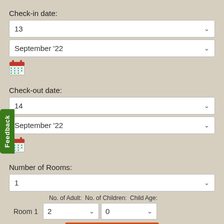Check-in date:
13
September '22
[Figure (illustration): Calendar icon for check-in date]
Check-out date:
14
September '22
[Figure (illustration): Calendar icon for check-out date]
Number of Rooms:
1
No. of Adult: No. of Children: Child Age:
Room 1   2   0
Check Availability